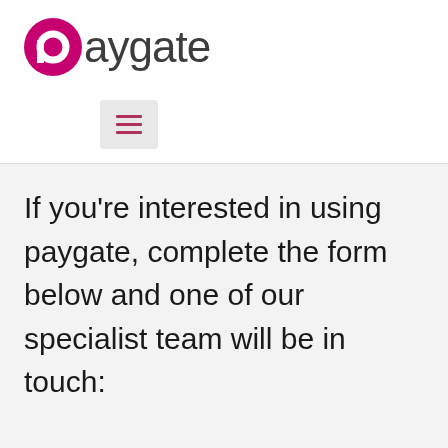[Figure (logo): Paygate logo: a pink/magenta circle with a smaller white circle inside (letter p shape), followed by the word 'paygate' in dark grey lightweight font]
[Figure (other): Hamburger menu icon consisting of three horizontal pink/magenta lines inside a light grey rounded rectangle button]
If you're interested in using paygate, complete the form below and one of our specialist team will be in touch: